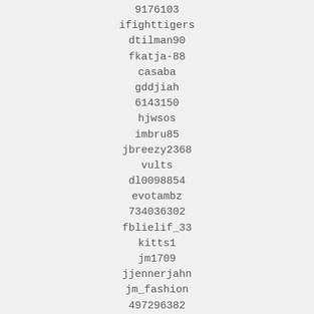9176103
ifighttigers
dtilman90
fkatja-88
casaba
gddjiah
6143150
hjwsos
imbru85
jbreezy2368
vults
dl0098854
evotambz
734036302
fblielif_33
kitts1
jm1709
jjennerjahn
jm_fashion
497296382
jhunex_ignacio
jsjsjajajaj
jlynnkes
k_grandma